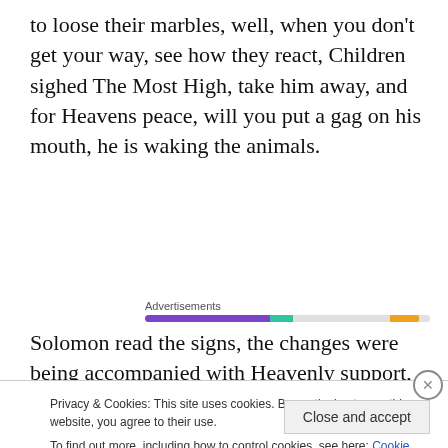to loose their marbles, well, when you don't get your way, see how they react, Children sighed The Most High, take him away, and for Heavens peace, will you put a gag on his mouth, he is waking the animals.
[Figure (infographic): Advertisements progress bar with purple, teal, and orange segments on a light grey track]
Solomon read the signs, the changes were being accompanied with Heavenly support, hold firm, and your faith will see you through. Forget the worries of the future.
Privacy & Cookies: This site uses cookies. By continuing to use this website, you agree to their use. To find out more, including how to control cookies, see here: Cookie Policy
Close and accept
same page is easy. And free.